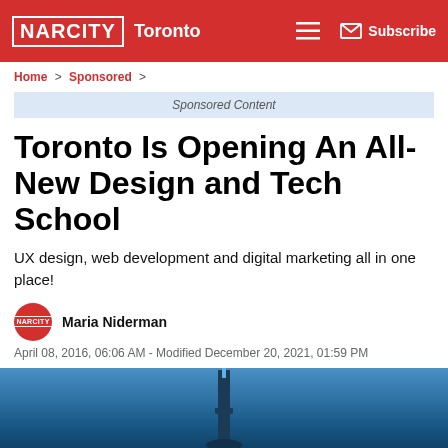NARCITY Toronto — Subscribe
Home > Sponsored >
Sponsored Content
Toronto Is Opening An All-New Design and Tech School
UX design, web development and digital marketing all in one place!
Maria Niderman
April 08, 2016, 06:06 AM - Modified December 20, 2021, 01:59 PM
[Figure (photo): Blue sky photo showing top of CN Tower in Toronto]